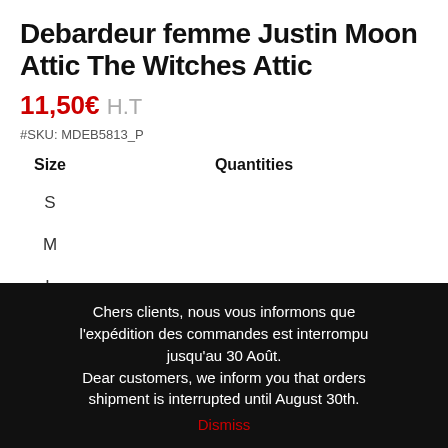Debardeur femme Justin Moon Attic The Witches Attic
11,50€ H.T
#SKU: MDEB5813_P
| Size | Quantities |
| --- | --- |
| S |  |
| M |  |
| L |  |
| XL |  |
Chers clients, nous vous informons que l'expédition des commandes est interrompu jusqu'au 30 Août. Dear customers, we inform you that orders shipment is interrupted until August 30th. Dismiss